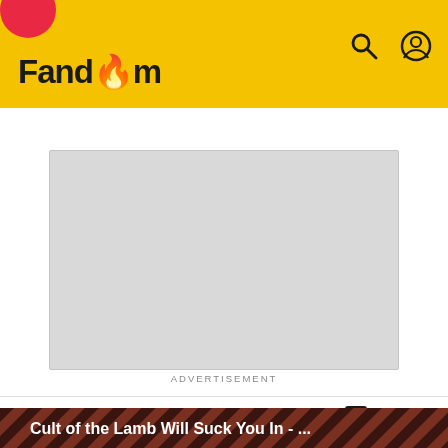Fandom
[Figure (screenshot): Advertisement placeholder (grey rectangle)]
ADVERTISEMENT
ANIMAL CROSSING WIKI
Rainbowfish
[Figure (illustration): Cult of the Lamb Will Suck You In - ... promotional banner with diagonal stripe pattern and animal character illustration]